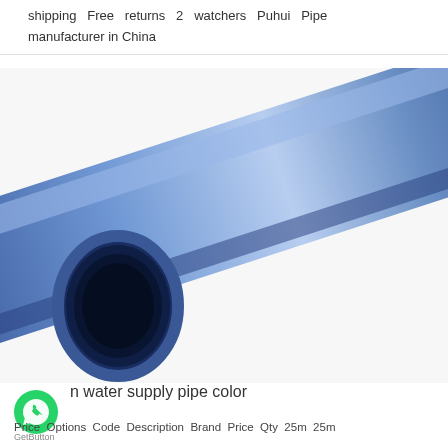shipping Free returns 2 watchers Puhui Pipe manufacturer in China
[Figure (photo): A blue plastic pipe (Puhui brand) shown diagonally on a white background, with the hollow circular end visible at the lower left.]
n water supply pipe color
Price Options Code Description Brand Price Qty 25m 25m